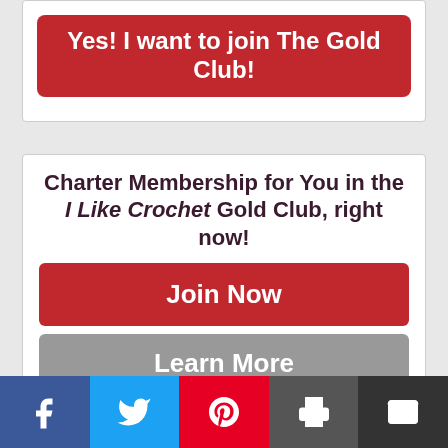[Figure (screenshot): Red button with white bold text 'Yes! I want to join The Gold Club!' inside a white card with border]
Charter Membership for You in the I Like Crochet Gold Club, right now!
[Figure (screenshot): Red 'Join Now' button]
[Figure (screenshot): Grey 'Learn More' button]
[Figure (infographic): Social sharing bar with Facebook, Twitter, Pinterest, Print, and Email buttons]